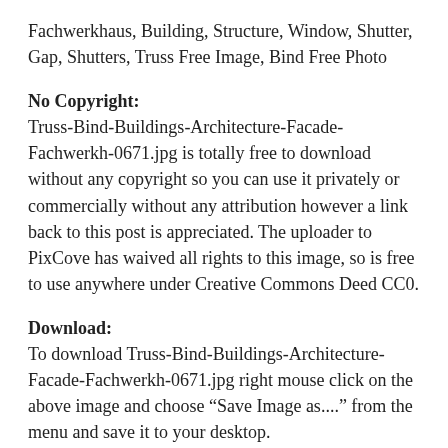Fachwerkhaus, Building, Structure, Window, Shutter, Gap, Shutters, Truss Free Image, Bind Free Photo
No Copyright:
Truss-Bind-Buildings-Architecture-Facade-Fachwerkh-0671.jpg is totally free to download without any copyright so you can use it privately or commercially without any attribution however a link back to this post is appreciated. The uploader to PixCove has waived all rights to this image, so is free to use anywhere under Creative Commons Deed CC0.
Download:
To download Truss-Bind-Buildings-Architecture-Facade-Fachwerkh-0671.jpg right mouse click on the above image and choose “Save Image as....” from the menu and save it to your desktop.
Image Enhancement:
Currently we recommend using Windows Photo Gallery which